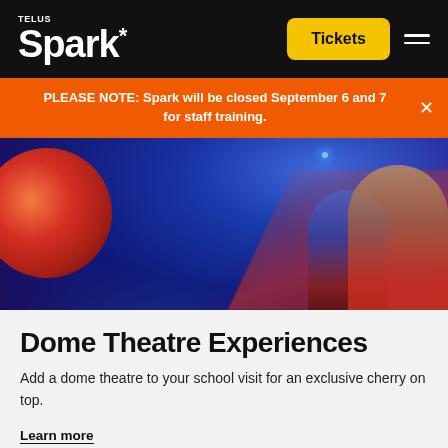TELUS Spark
PLEASE NOTE: Spark will be closed September 6 and 7 for staff training.
[Figure (photo): People in a dome theatre looking up at a large orange/red planet projection against a blue-purple domed ceiling.]
Dome Theatre Experiences
Add a dome theatre to your school visit for an exclusive cherry on top.
Learn more